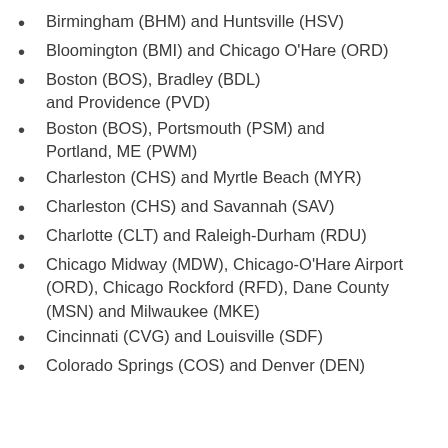Birmingham (BHM) and Huntsville (HSV)
Bloomington (BMI) and Chicago O'Hare (ORD)
Boston (BOS), Bradley (BDL) and Providence (PVD)
Boston (BOS), Portsmouth (PSM) and Portland, ME (PWM)
Charleston (CHS) and Myrtle Beach (MYR)
Charleston (CHS) and Savannah (SAV)
Charlotte (CLT) and Raleigh-Durham (RDU)
Chicago Midway (MDW), Chicago-O'Hare Airport (ORD), Chicago Rockford (RFD), Dane County (MSN) and Milwaukee (MKE)
Cincinnati (CVG) and Louisville (SDF)
Colorado Springs (COS) and Denver (DEN)